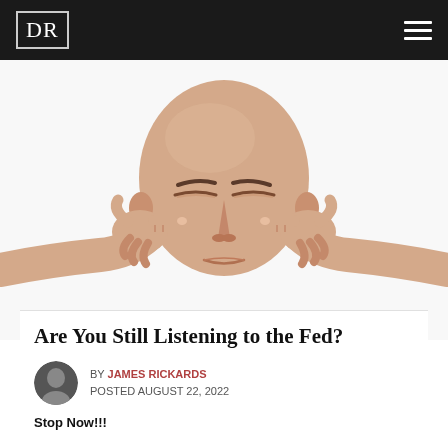DR
[Figure (photo): Bald man with eyes closed plugging both ears with index fingers, white background]
Are You Still Listening to the Fed?
BY JAMES RICKARDS
POSTED AUGUST 22, 2022
Stop Now!!!